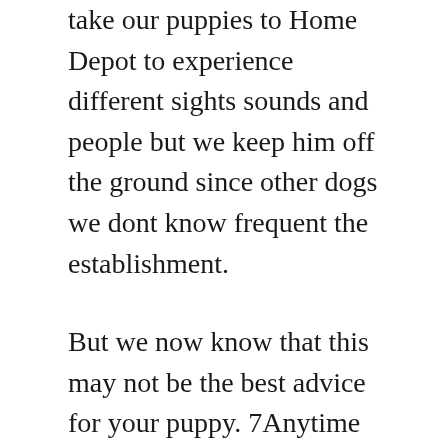take our puppies to Home Depot to experience different sights sounds and people but we keep him off the ground since other dogs we dont know frequent the establishment.
But we now know that this may not be the best advice for your puppy. 7Anytime pups bladder isnt completely empty its been more than 2 hours since pup went potty outside last pup needs to be either crated or tethered to you until its time to go potty outside again and pup goes potty outside. The short answer is after their final rounds of vaccines are completed at about 16 weeks of age or whenever your pups